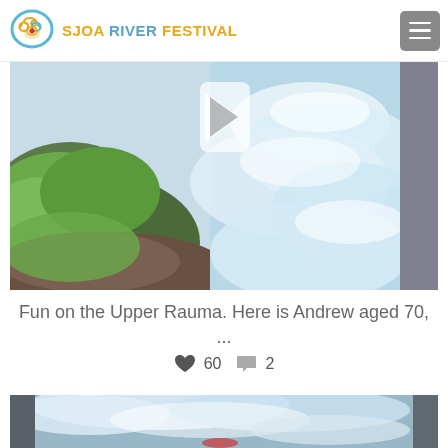SJOA RIVER FESTIVAL
[Figure (photo): Aerial/overhead view of a river with white rushing water and green mossy rocks on the left side]
Fun on the Upper Rauma. Here is Andrew aged 70, ...
♥ 60  💬 2
[Figure (photo): Second river photo showing whitewater rapids with rocky canyon walls]